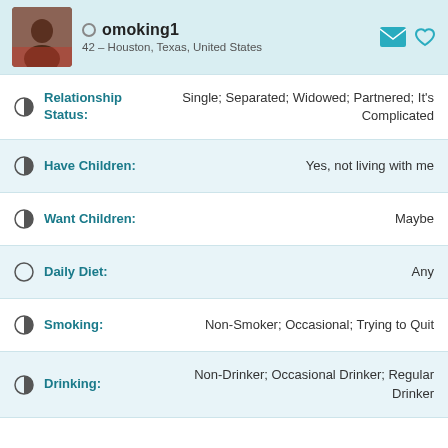omoking1 – 42 – Houston, Texas, United States
Relationship Status: Single; Separated; Widowed; Partnered; It's Complicated
Have Children: Yes, not living with me
Want Children: Maybe
Daily Diet: Any
Smoking: Non-Smoker; Occasional; Trying to Quit
Drinking: Non-Drinker; Occasional Drinker; Regular Drinker